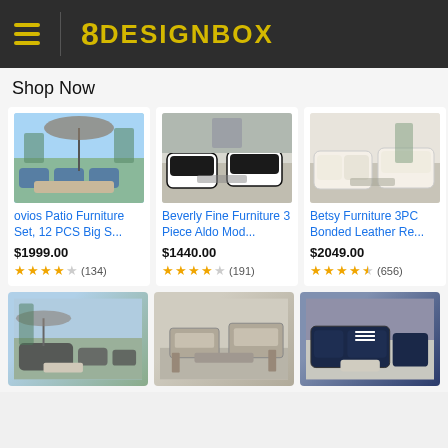8 DESIGNBOX
Shop Now
[Figure (photo): Outdoor patio furniture set with blue cushions and gazebo]
ovios Patio Furniture Set, 12 PCS Big S...
$1999.00
★★★★☆ (134)
[Figure (photo): Black and white modern living room furniture set]
Beverly Fine Furniture 3 Piece Aldo Mod...
$1440.00
★★★★☆ (191)
[Figure (photo): Beige bonded leather recliner sofa set]
Betsy Furniture 3PC Bonded Leather Re...
$2049.00
★★★★½ (656)
[Figure (photo): Outdoor rattan patio sectional with white ottoman]
[Figure (photo): Gray wooden outdoor bench and chairs set]
[Figure (photo): Navy blue outdoor sectional sofa set]